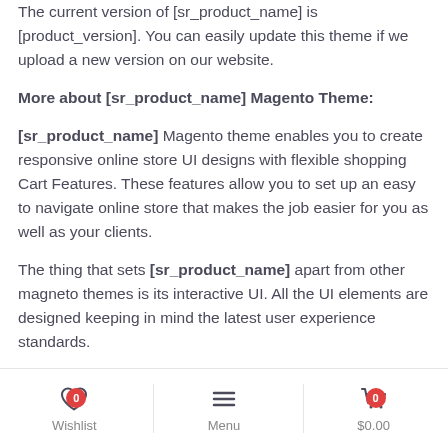The current version of [sr_product_name] is [product_version]. You can easily update this theme if we upload a new version on our website.
More about [sr_product_name] Magento Theme:
[sr_product_name] Magento theme enables you to create responsive online store UI designs with flexible shopping Cart Features. These features allow you to set up an easy to navigate online store that makes the job easier for you as well as your clients.
The thing that sets [sr_product_name] apart from other magneto themes is its interactive UI. All the UI elements are designed keeping in mind the latest user experience standards.
[sr_product_name] allows easy integration of other SEO
Wishlist  0   Menu   $0.00  0